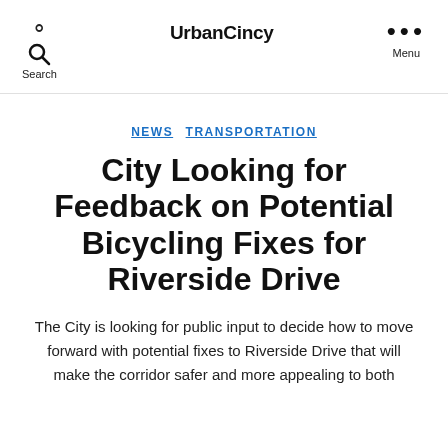Search  UrbanCincy  Menu
NEWS  TRANSPORTATION
City Looking for Feedback on Potential Bicycling Fixes for Riverside Drive
The City is looking for public input to decide how to move forward with potential fixes to Riverside Drive that will make the corridor safer and more appealing to both